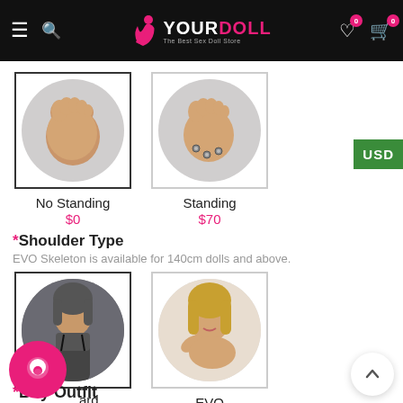YOURDOLL - The Best Sex Doll Store
[Figure (photo): Foot sole without standing feet bolts (No Standing option), circular image on light gray background]
[Figure (photo): Foot sole with three metal standing bolts (Standing option), circular image on light gray background]
No Standing
$0
Standing
$70
*Shoulder Type
EVO Skeleton is available for 140cm dolls and above.
[Figure (photo): Doll with standard shoulder type, circular image showing upper body with dark hair]
[Figure (photo): Doll with EVO shoulder type, circular image showing upper body with blonde hair]
EVO
$70
*Buy Outfit